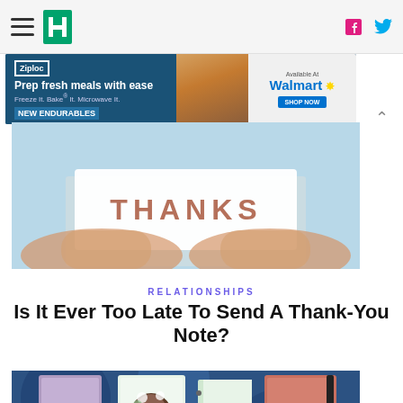HuffPost navigation with hamburger menu, logo, Facebook and Twitter icons
[Figure (infographic): Ziploc advertisement: Prep fresh meals with ease. Freeze It. Bake It. Microwave It. NEW ENDURABLES. Available at Walmart.]
[Figure (photo): Person holding a white card with 'THANKS' written in rose-gold letters]
RELATIONSHIPS
Is It Ever Too Late To Send A Thank-You Note?
[Figure (photo): Assortment of notebooks and journals including Leuchtturm1917, illustrated cover, spiral notepad, and Rollbahn on a blue background]